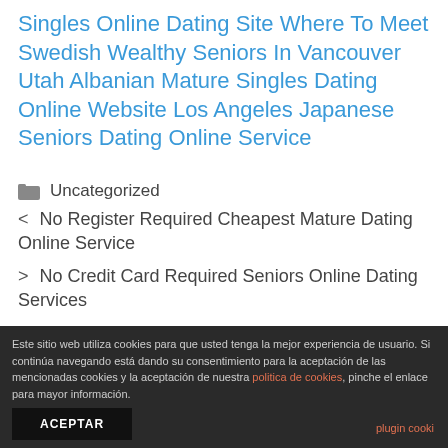Singles Online Dating Site Where To Meet Swedish Wealthy Seniors In Vancouver Utah Albanian Mature Singles Dating Online Website Los Angeles Japanese Seniors Dating Online Service
Uncategorized
< No Register Required Cheapest Mature Dating Online Service
> No Credit Card Required Seniors Online Dating Services
Este sitio web utiliza cookies para que usted tenga la mejor experiencia de usuario. Si continúa navegando está dando su consentimiento para la aceptación de las mencionadas cookies y la aceptación de nuestra politica de cookies, pinche el enlace para mayor información. ACEPTAR plugin cooki